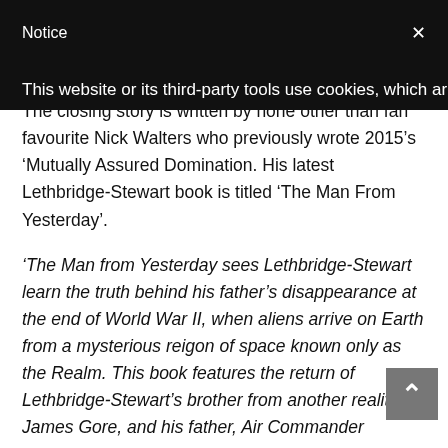Notice
This website or its third-party tools use cookies, which are
The closing story is written by none other than fan favourite Nick Walters who previously wrote 2015’s ‘Mutually Assured Domination. His latest Lethbridge-Stewart book is titled ‘The Man From Yesterday’.
‘The Man from Yesterday sees Lethbridge-Stewart learn the truth behind his father’s disappearance at the end of World War II, when aliens arrive on Earth from a mysterious reigon of space known only as the Realm. This book features the return of Lethbridge-Stewart’s brother from another reality, James Gore, and his father, Air Commander Gordon Lethbridge-Stewart!’
What Candy Jar Says